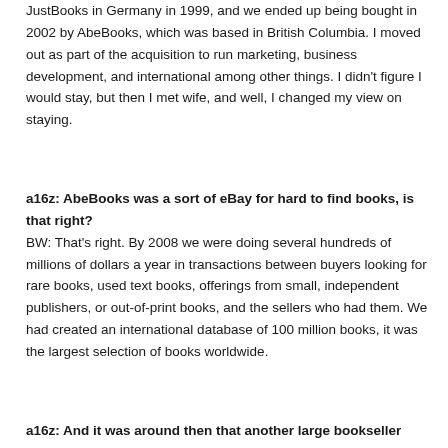JustBooks in Germany in 1999, and we ended up being bought in 2002 by AbeBooks, which was based in British Columbia. I moved out as part of the acquisition to run marketing, business development, and international among other things. I didn't figure I would stay, but then I met wife, and well, I changed my view on staying.
a16z: AbeBooks was a sort of eBay for hard to find books, is that right?
BW: That's right. By 2008 we were doing several hundreds of millions of dollars a year in transactions between buyers looking for rare books, used text books, offerings from small, independent publishers, or out-of-print books, and the sellers who had them. We had created an international database of 100 million books, it was the largest selection of books worldwide.
a16z: And it was around then that another large bookseller...